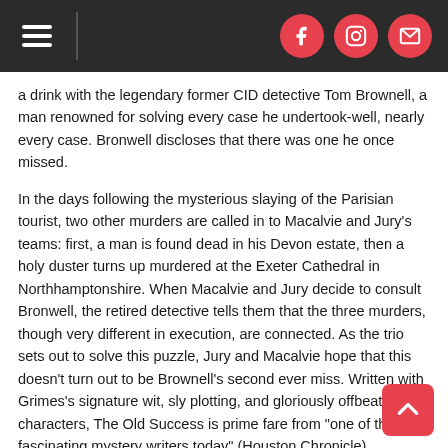Navigation bar with hamburger menu and social icons (Facebook, Instagram, Email)
a drink with the legendary former CID detective Tom Brownell, a man renowned for solving every case he undertook-well, nearly every case. Bronwell discloses that there was one he once missed.
In the days following the mysterious slaying of the Parisian tourist, two other murders are called in to Macalvie and Jury's teams: first, a man is found dead in his Devon estate, then a holy duster turns up murdered at the Exeter Cathedral in Northhamptonshire. When Macalvie and Jury decide to consult Bronwell, the retired detective tells them that the three murders, though very different in execution, are connected. As the trio sets out to solve this puzzle, Jury and Macalvie hope that this doesn't turn out to be Brownell's second ever miss. Written with Grimes's signature wit, sly plotting, and gloriously offbeat characters, The Old Success is prime fare from "one of the most fascinating mystery writers today" (Houston Chronicle).
ABOUT THE AUTHOR
Martha Grimes is the bestselling author of more than thirty books, twenty-five of them featuring Richard Jury. The recipient of the 2012 Mystery Writers of America's Grand Master Award, Grimes lives in